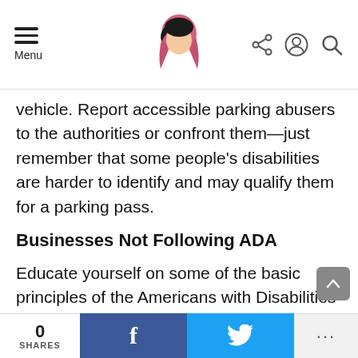Menu [navigation bar with avatar logo and icons]
vehicle. Report accessible parking abusers to the authorities or confront them—just remember that some people's disabilities are harder to identify and may qualify them for a parking pass.
Businesses Not Following ADA
Educate yourself on some of the basic principles of the Americans with Disabilities Act (ADA), particularly how businesses must treat people with disabilities without discrimination along with the accessible design standards. If you notice any mistreatment or unfriendly design, bring it up with the manager—
0 SHARES  [Facebook share]  [Twitter share]  ...